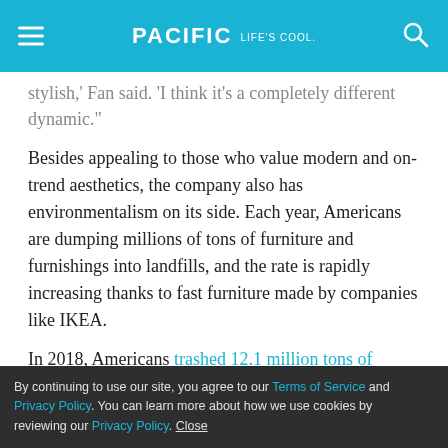PACIFIC Life's cool
stylish,' Fan said. 'I think it's a completely different dynamic."
Besides appealing to those who value modern and on-trend aesthetics, the company also has environmentalism on its side. Each year, Americans are dumping millions of tons of furniture and furnishings into landfills, and the rate is rapidly increasing thanks to fast furniture made by companies like IKEA.
In 2018, Americans trashed 12.1 million tons of furnishings, up from 2.2 million tons in 1960, according to the Environmental Protection Agency.
By continuing to use our site, you agree to our Terms of Service and Privacy Policy. You can learn more about how we use cookies by reviewing our Privacy Policy. Close